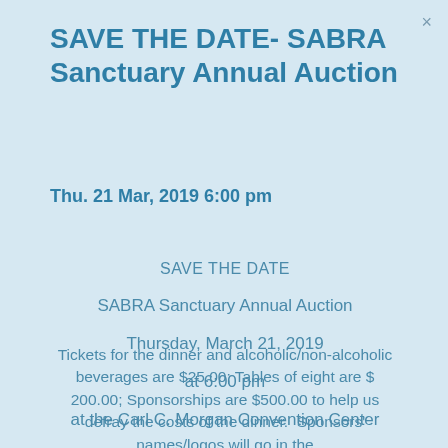SAVE THE DATE- SABRA Sanctuary Annual Auction
Thu. 21 Mar, 2019 6:00 pm
SAVE THE DATE
SABRA Sanctuary Annual Auction
Thursday, March 21, 2019
at 6:00 pm
at the Carl C. Morgan Convention Center
Tickets for the dinner and alcoholic/non-alcoholic beverages are $25.00; Tables of eight are $ 200.00; Sponsorships are $500.00 to help us defray the costs of the dinner.  Sponsors' names/logos will go in the